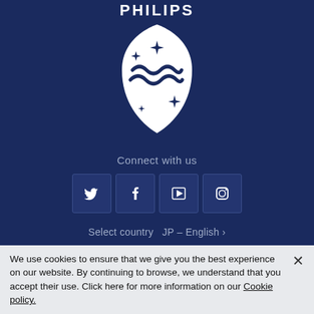[Figure (logo): Philips logo: white shield-shaped emblem with stylized waves and four-pointed stars, with 'PHILIPS' text at top, on dark navy background]
Connect with us
[Figure (infographic): Four social media icons in dark blue square buttons: Twitter (bird), Facebook (f), YouTube (play button), Instagram (camera)]
Select country  JP – English ›
Contact Philips dictation solutions | Legal notice | Cookie notice | Privacy policy | Terms of use
We use cookies to ensure that we give you the best experience on our website. By continuing to browse, we understand that you accept their use. Click here for more information on our Cookie policy.